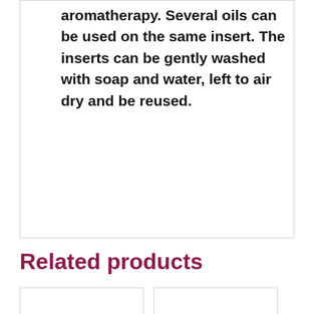aromatherapy. Several oils can be used on the same insert. The inserts can be gently washed with soap and water, left to air dry and be reused.
Related products